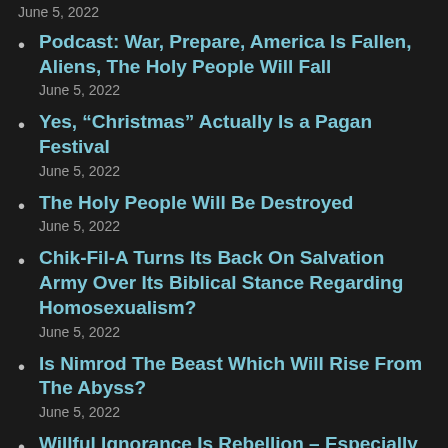June 5, 2022
Podcast: War, Prepare, America Is Fallen, Aliens, The Holy People Will Fall
June 5, 2022
Yes, “Christmas” Actually Is a Pagan Festival
June 5, 2022
The Holy People Will Be Destroyed
June 5, 2022
Chik-Fil-A Turns Its Back On Salvation Army Over Its Biblical Stance Regarding Homosexualism?
June 5, 2022
Is Nimrod The Beast Which Will Rise From The Abyss?
June 5, 2022
Willful Ignorance Is Rebellion – Especially In